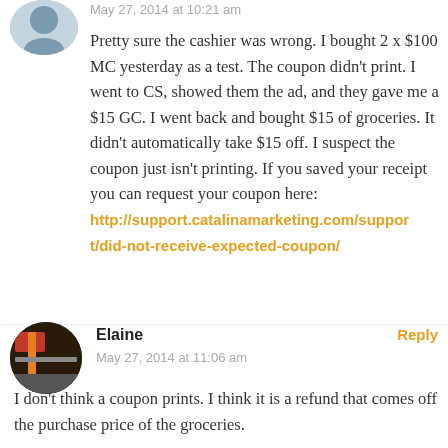May 27, 2014 at 10:21 am
Pretty sure the cashier was wrong. I bought 2 x $100 MC yesterday as a test. The coupon didn't print. I went to CS, showed them the ad, and they gave me a $15 GC. I went back and bought $15 of groceries. It didn't automatically take $15 off. I suspect the coupon just isn't printing. If you saved your receipt you can request your coupon here: http://support.catalinamarketing.com/support/did-not-receive-expected-coupon/
Elaine
May 27, 2014 at 11:06 am
I don't think a coupon prints. I think it is a refund that comes off the purchase price of the groceries.